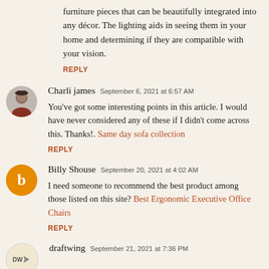furniture pieces that can be beautifully integrated into any décor. The lighting aids in seeing them in your home and determining if they are compatible with your vision.
REPLY
Charli james  September 6, 2021 at 6:57 AM
You've got some interesting points in this article. I would have never considered any of these if I didn't come across this. Thanks!. Same day sofa collection
REPLY
Billy Shouse  September 20, 2021 at 4:02 AM
I need someone to recommend the best product among those listed on this site? Best Ergonomic Executive Office Chairs
REPLY
draftwing  September 21, 2021 at 7:36 PM